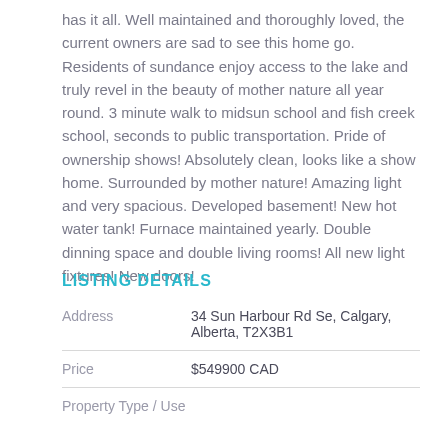has it all. Well maintained and thoroughly loved, the current owners are sad to see this home go. Residents of sundance enjoy access to the lake and truly revel in the beauty of mother nature all year round. 3 minute walk to midsun school and fish creek school, seconds to public transportation. Pride of ownership shows! Absolutely clean, looks like a show home. Surrounded by mother nature! Amazing light and very spacious. Developed basement! New hot water tank! Furnace maintained yearly. Double dinning space and double living rooms! All new light fixtures! New doors!
LISTING DETAILS
|  |  |
| --- | --- |
| Address | 34 Sun Harbour Rd Se, Calgary, Alberta, T2X3B1 |
| Price | $549900 CAD |
| Property Type / Use |  |